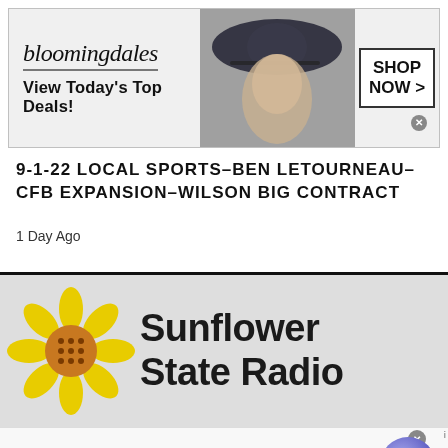[Figure (screenshot): Bloomingdale's advertisement banner with logo, 'View Today's Top Deals!' tagline, woman in hat photo, and 'SHOP NOW >' button]
9-1-22 LOCAL SPORTS-BEN LETOURNEAU-CFB EXPANSION-WILSON BIG CONTRACT
1 Day Ago
[Figure (logo): Sunflower State Radio logo with sunflower icon and text 'Sunflower State Radio']
[Figure (screenshot): Amazon advertisement: 'Amazon.com: Online Shopping for Everyone' with shop at Amazon tagline, amazon.com URL, and circular arrow CTA button]